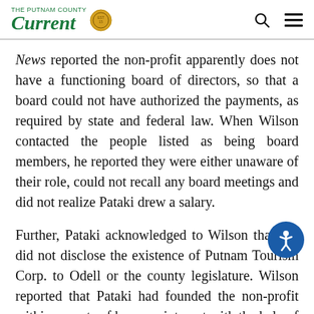The Putnam County Current
News reported the non-profit apparently does not have a functioning board of directors, so that a board could not have authorized the payments, as required by state and federal law. When Wilson contacted the people listed as being board members, he reported they were either unaware of their role, could not recall any board meetings and did not realize Pataki drew a salary.
Further, Pataki acknowledged to Wilson that she did not disclose the existence of Putnam Tourism Corp. to Odell or the county legislature. Wilson reported that Pataki had founded the non-profit within seven months of her appointment with the help of Scuccimarra and